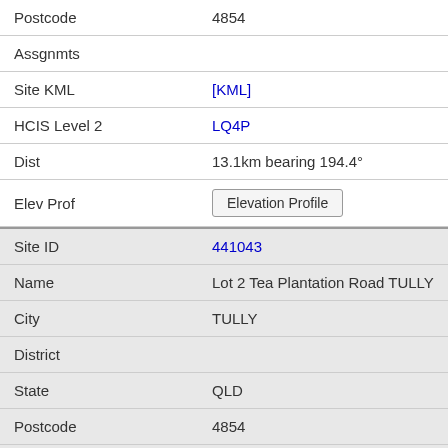| Postcode | 4854 |
| Assgnmts |  |
| Site KML | [KML] |
| HCIS Level 2 | LQ4P |
| Dist | 13.1km bearing 194.4° |
| Elev Prof | Elevation Profile |
| Site ID | 441043 |
| Name | Lot 2 Tea Plantation Road TULLY |
| City | TULLY |
| District |  |
| State | QLD |
| Postcode | 4854 |
| Assgnmts |  |
| Site KML | [KML] |
| HCIS Level 2 | LQ4P |
| Dist | 13.2km bearing 237.7° |